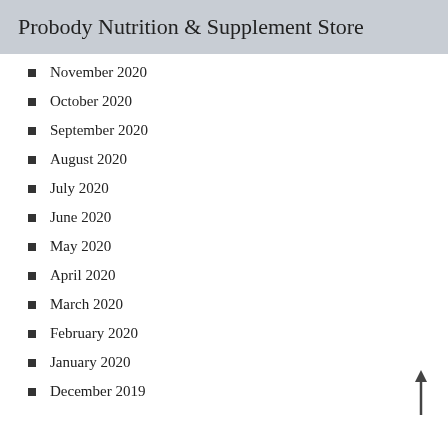Probody Nutrition & Supplement Store
November 2020
October 2020
September 2020
August 2020
July 2020
June 2020
May 2020
April 2020
March 2020
February 2020
January 2020
December 2019